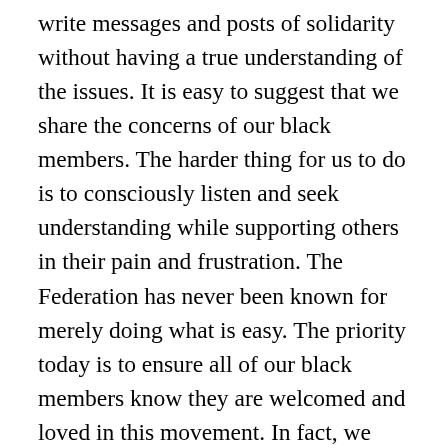write messages and posts of solidarity without having a true understanding of the issues. It is easy to suggest that we share the concerns of our black members. The harder thing for us to do is to consciously listen and seek understanding while supporting others in their pain and frustration. The Federation has never been known for merely doing what is easy. The priority today is to ensure all of our black members know they are welcomed and loved in this movement. In fact, we should extend that same truth to any others who feel the real pain sweeping our nation. Please do not use